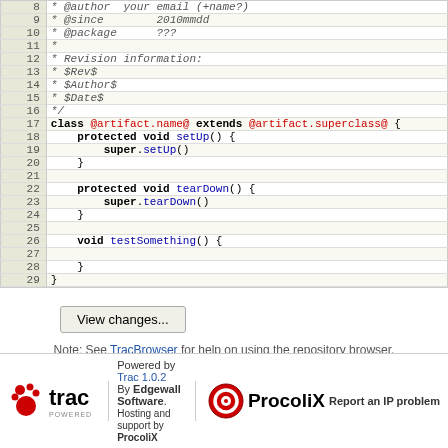[Figure (screenshot): Code editor view showing Java source lines 8-29 with line numbers, syntax highlighting in monospace font. Comments in italic gray, keywords bold, annotations in red, method names in blue.]
View changes...
Note: See TracBrowser for help on using the repository browser.
Download in other formats: Plain Text | Original Format
trac POWERED | Powered by Trac 1.0.2 By Edgewall Software. | ProcoliX | Hosting and support by ProcoliX | Report an IP problem